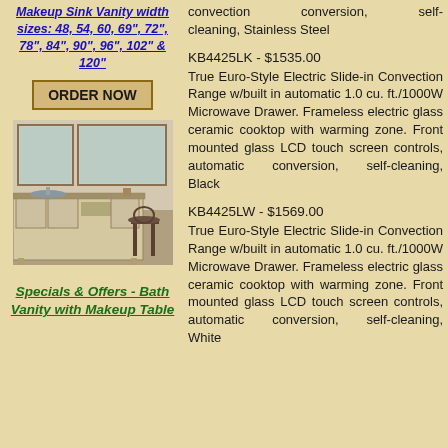Makeup Sink Vanity width sizes: 48, 54, 60, 69", 72", 78", 84", 90", 96", 102" & 120"
ORDER NOW
[Figure (photo): Photo of a bathroom makeup sink vanity with mirror and chair]
Specials & Offers - Bath Vanity with Makeup Table
convection conversion, self-cleaning, Stainless Steel
KB4425LK - $1535.00 True Euro-Style Electric Slide-in Convection Range w/built in automatic 1.0 cu. ft./1000W Microwave Drawer. Frameless electric glass ceramic cooktop with warming zone. Front mounted glass LCD touch screen controls, automatic conversion, self-cleaning, Black
KB4425LW - $1569.00 True Euro-Style Electric Slide-in Convection Range w/built in automatic 1.0 cu. ft./1000W Microwave Drawer. Frameless electric glass ceramic cooktop with warming zone. Front mounted glass LCD touch screen controls, automatic conversion, self-cleaning, White